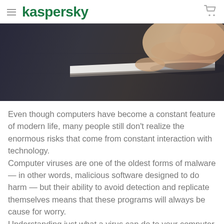kaspersky
[Figure (photo): Close-up photo of a hand holding or touching a USB drive or thin card on a dark surface]
Even though computers have become a constant feature of modern life, many people still don't realize the enormous risks that come from constant interaction with technology.
Computer viruses are one of the oldest forms of malware — in other words, malicious software designed to do harm — but their ability to avoid detection and replicate themselves means that these programs will always be cause for worry.
Understanding just what a virus can do to your computer is the first step to securing your system and